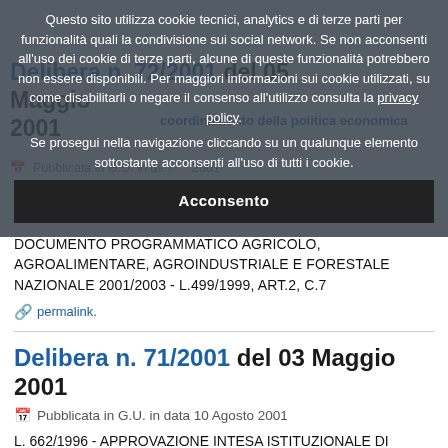Questo sito utilizza cookie tecnici, analytics e di terze parti per funzionalità quali la condivisione sui social network. Se non acconsenti all'uso dei cookie di terze parti, alcune di queste funzionalità potrebbero non essere disponibili. Per maggiori informazioni sui cookie utilizzati, su come disabilitarli o negare il consenso all'utilizzo consulta la privacy policy. Se prosegui nella navigazione cliccando su un qualunque elemento sottostante acconsenti all'uso di tutti i cookie.
Acconsento
Delibera n. 72/2001 del 05 Maggio 2001
Pubblicata in G.U. in data ... 2001
DOCUMENTO PROGRAMMATICO AGRICOLO, AGROALIMENTARE, AGROINDUSTRIALE E FORESTALE NAZIONALE 2001/2003 - L.499/1999, ART.2, C.7
permalink.
Delibera n. 71/2001 del 03 Maggio 2001
Pubblicata in G.U. in data 10 Agosto 2001
L. 662/1996 - APPROVAZIONE INTESA ISTITUZIONALE DI PROGRAMMA CON LA REGIONE AUTONOMA DELLA VALLE